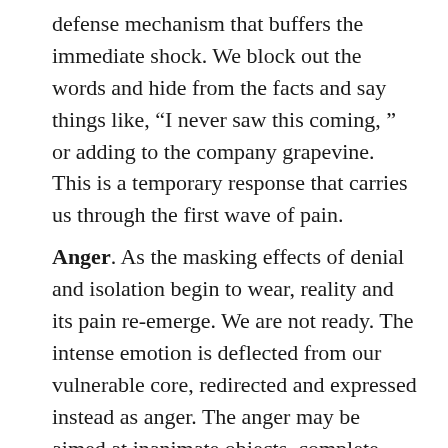defense mechanism that buffers the immediate shock. We block out the words and hide from the facts and say things like, “I never saw this coming, ” or adding to the company grapevine. This is a temporary response that carries us through the first wave of pain.
Anger. As the masking effects of denial and isolation begin to wear, reality and its pain re-emerge. We are not ready. The intense emotion is deflected from our vulnerable core, redirected and expressed instead as anger. The anger may be aimed at inanimate objects, complete strangers, friends or family. Anger may be directed at the person’s previous place of employment which is often the case.